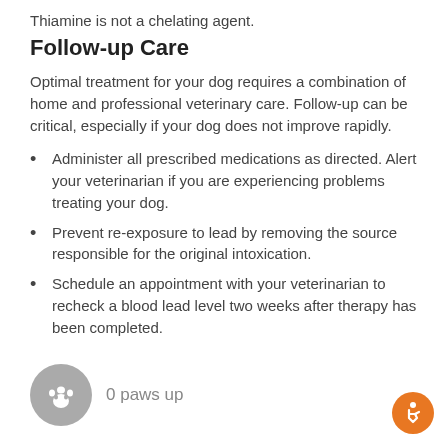Thiamine is not a chelating agent.
Follow-up Care
Optimal treatment for your dog requires a combination of home and professional veterinary care. Follow-up can be critical, especially if your dog does not improve rapidly.
Administer all prescribed medications as directed. Alert your veterinarian if you are experiencing problems treating your dog.
Prevent re-exposure to lead by removing the source responsible for the original intoxication.
Schedule an appointment with your veterinarian to recheck a blood lead level two weeks after therapy has been completed.
[Figure (illustration): A grey circular paw print icon followed by the text '0 paws up']
[Figure (illustration): Orange circular accessibility icon in the bottom right corner]